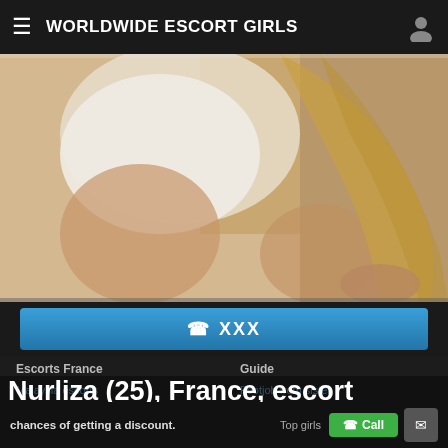WORLDWIDE ESCORT GIRLS
[Figure (photo): Blonde woman in white top, cropped torso shot]
☎ XXX
Escorts France
Guide
Malaysia escorts
Footjob from sister
Nurliza (25), France, escort sexgirl
Escort Spain
Mature womens swimsuits
Czech Republic escorts
my wifes huge tits
All escorts
Tell that you are calling from escort-touch.me to increase your chances of getting a discount.
Top girls
Call